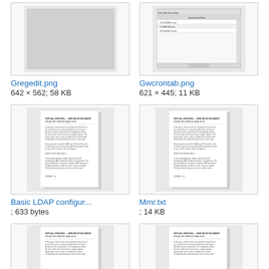[Figure (screenshot): Thumbnail of Gregedit.png - a blank/empty looking window]
Gregedit.png
642 × 562; 58 KB
[Figure (screenshot): Thumbnail of Gwcrontab.png - a window with table/list of data]
Gwcrontab.png
621 × 445; 11 KB
[Figure (document): Thumbnail of Basic LDAP configuration document]
Basic LDAP configur...
; 633 bytes
[Figure (document): Thumbnail of Mmr.txt document]
Mmr.txt
; 14 KB
[Figure (document): Thumbnail of another document - partially visible]
[Figure (document): Thumbnail of another document - partially visible]